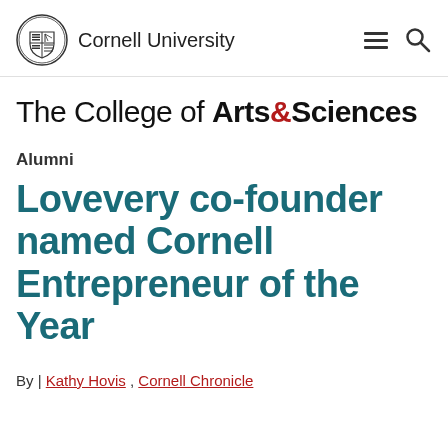Cornell University
The College of Arts&Sciences
Alumni
Lovevery co-founder named Cornell Entrepreneur of the Year
By | Kathy Hovis , Cornell Chronicle